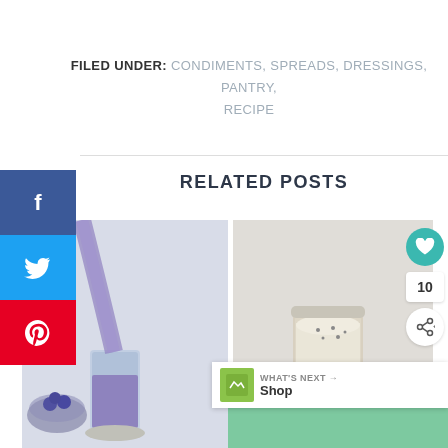FILED UNDER: CONDIMENTS, SPREADS, DRESSINGS, PANTRY, RECIPE
RELATED POSTS
[Figure (photo): Purple blueberry smoothie being poured into a glass, with a bowl of blueberries in the foreground]
[Figure (photo): A jar of cream/chia pudding with cookies on a plate]
WHAT'S NEXT → Shop
10